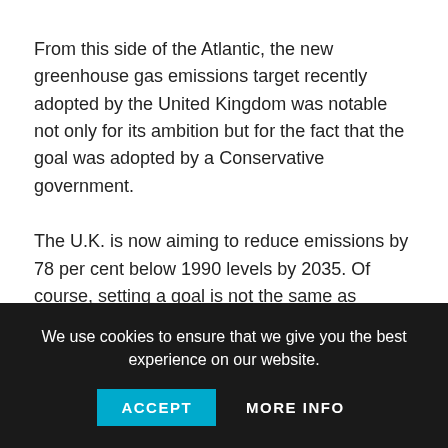From this side of the Atlantic, the new greenhouse gas emissions target recently adopted by the United Kingdom was notable not only for its ambition but for the fact that the goal was adopted by a Conservative government.
The U.K. is now aiming to reduce emissions by 78 per cent below 1990 levels by 2035. Of course, setting a goal is not the same as implementing policies to achieve it. And it would be a mistake to assume that the debate over climate policy in the
We use cookies to ensure that we give you the best experience on our website.